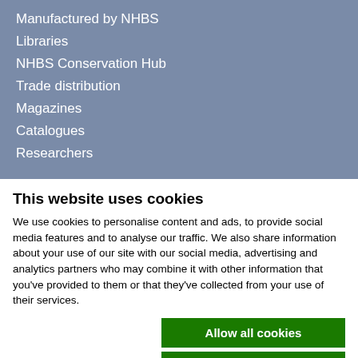Manufactured by NHBS
Libraries
NHBS Conservation Hub
Trade distribution
Magazines
Catalogues
Researchers
This website uses cookies
We use cookies to personalise content and ads, to provide social media features and to analyse our traffic. We also share information about your use of our site with our social media, advertising and analytics partners who may combine it with other information that you've provided to them or that they've collected from your use of their services.
Allow all cookies
Allow selection
Use necessary cookies only
Necessary  Preferences  Statistics  Marketing  Show details